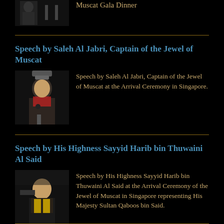Muscat Gala Dinner
Speech by Saleh Al Jabri, Captain of the Jewel of Muscat
Speech by Saleh Al Jabri, Captain of the Jewel of Muscat at the Arrival Ceremony in Singapore.
Speech by His Highness Sayyid Harib bin Thuwaini Al Said
Speech by His Highness Sayyid Harib bin Thuwaini Al Said at the Arrival Ceremony of the Jewel of Muscat in Singapore representing His Majesty Sultan Qaboos bin Said.